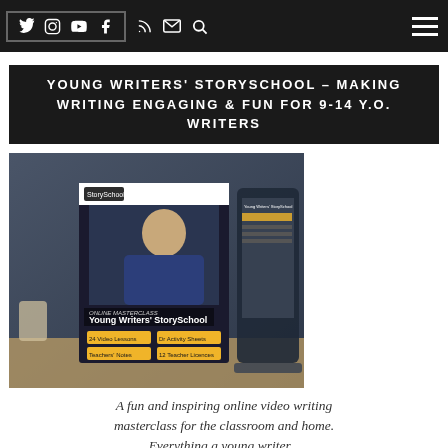PROCODERS [social icons: Twitter, Instagram, YouTube, Facebook, RSS, Email, Search] [hamburger menu]
YOUNG WRITERS' STORYSCHOOL – MAKING WRITING ENGAGING & FUN FOR 9-14 Y.O. WRITERS
[Figure (photo): Product box for 'Young Writers' StorySchool' online masterclass, showing a man writing, with feature labels: 24 Video Lessons, Dr Activity Sheets, Teachers' Notes, 12 Teacher Licences. A laptop/tablet with the course interface is visible in the background.]
A fun and inspiring online video writing masterclass for the classroom and home. Everything a young writer...